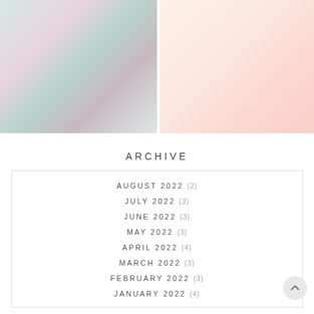[Figure (photo): Two photos side by side: left shows pink peonies in a glass vase with mint/pink decorated books, right shows pink and cream macarons/cookies with pink frosting roses on white background]
ARCHIVE
AUGUST 2022 (2)
JULY 2022 (3)
JUNE 2022 (3)
MAY 2022 (3)
APRIL 2022 (4)
MARCH 2022 (3)
FEBRUARY 2022 (3)
JANUARY 2022 (4)